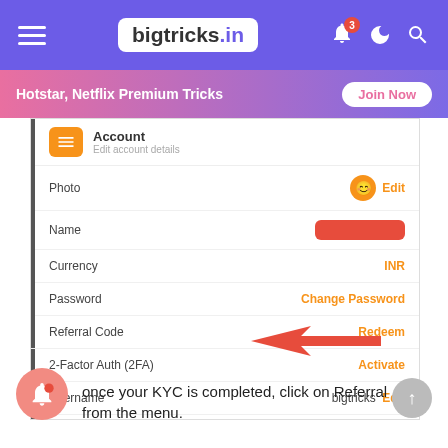bigtricks.in
[Figure (screenshot): Mobile app account settings screen showing fields: Photo, Name (redacted), Currency, Password, Referral Code (with red arrow pointing to it), Two-factor Auth (2FA), Username (bigtricks), and Bank Account. A red arrow annotation highlights the Referral Code row.]
once your KYC is completed, click on Referral from the menu.